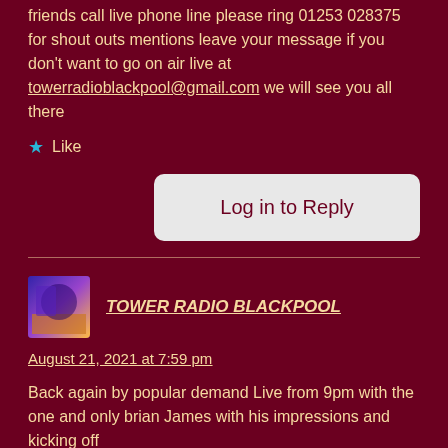friends call live phone line please ring 01253 028375 for shout outs mentions leave your message if you don't want to go on air live at towerradioblackpool@gmail.com we will see you all there
Like
Log in to Reply
TOWER RADIO BLACKPOOL
August 21, 2021 at 7:59 pm
Back again by popular demand Live from 9pm with the one and only brian James with his impressions and kicking off